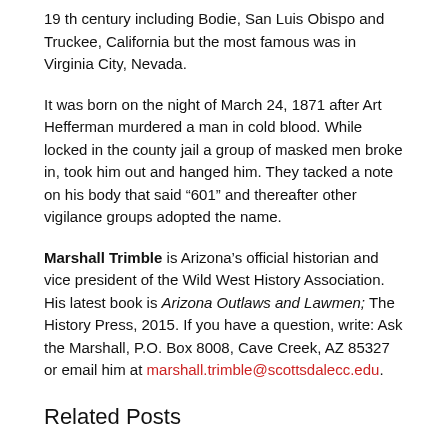19 th century including Bodie, San Luis Obispo and Truckee, California but the most famous was in Virginia City, Nevada.
It was born on the night of March 24, 1871 after Art Hefferman murdered a man in cold blood. While locked in the county jail a group of masked men broke in, took him out and hanged him. They tacked a note on his body that said “601” and thereafter other vigilance groups adopted the name.
Marshall Trimble is Arizona’s official historian and vice president of the Wild West History Association. His latest book is Arizona Outlaws and Lawmen; The History Press, 2015. If you have a question, write: Ask the Marshall, P.O. Box 8008, Cave Creek, AZ 85327 or email him at marshall.trimble@scottsdalecc.edu.
Related Posts